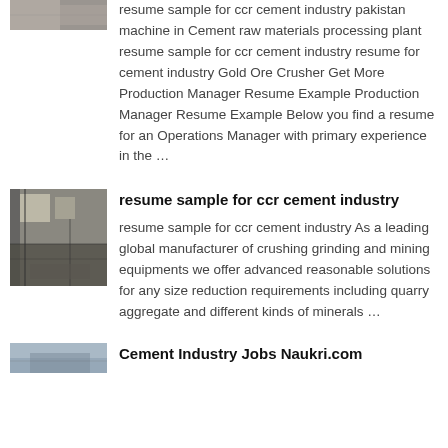[Figure (photo): Partial thumbnail of industrial/cement facility at top left, cropped]
resume sample for ccr cement industry pakistan machine in Cement raw materials processing plant resume sample for ccr cement industry resume for cement industry Gold Ore Crusher Get More Production Manager Resume Example Production Manager Resume Example Below you find a resume for an Operations Manager with primary experience in the …
[Figure (photo): Industrial interior photo showing machinery, scaffolding and debris in a cement facility]
resume sample for ccr cement industry
resume sample for ccr cement industry As a leading global manufacturer of crushing grinding and mining equipments we offer advanced reasonable solutions for any size reduction requirements including quarry aggregate and different kinds of minerals …
[Figure (photo): Partial thumbnail at bottom left, appears to show outdoor/aerial industrial view, cropped]
Cement Industry Jobs Naukri.com